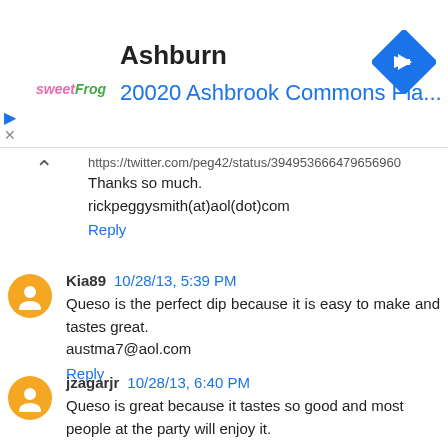[Figure (infographic): Advertisement banner for sweetFrog frozen yogurt at 20020 Ashbrook Commons Pla... in Ashburn, with a blue diamond navigation icon]
https://twitter.com/peg42/status/394953666479656960
Thanks so much.
rickpeggysmith(at)aol(dot)com
Reply
Kia89 10/28/13, 5:39 PM
Queso is the perfect dip because it is easy to make and tastes great.
austma7@aol.com
Reply
jzagarjr 10/28/13, 6:40 PM
Queso is great because it tastes so good and most people at the party will enjoy it.